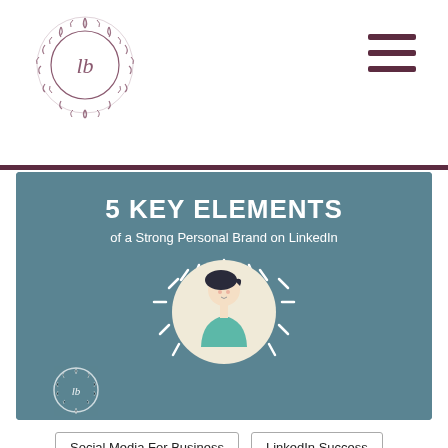[Figure (logo): Circular wreath logo with cursive 'lb' initials in center, dark rose/mauve color]
[Figure (illustration): Hamburger menu icon with three horizontal bars in dark maroon color]
[Figure (infographic): Teal/slate blue banner image with title '5 KEY ELEMENTS of a Strong Personal Brand on LinkedIn', featuring a circular illustration of a person with radiating dash lines around them, and a small logo in the bottom left corner]
Social Media For Business
LinkedIn Success
Content Marketing
Brand Strategy
Digital Transformation